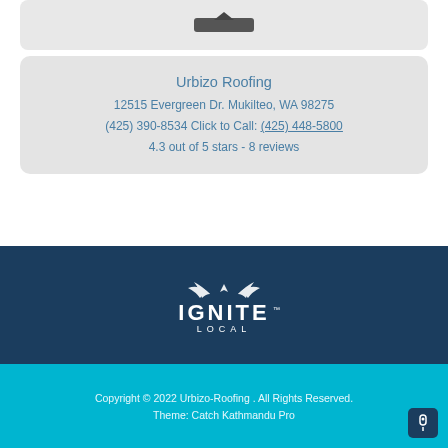[Figure (photo): Partial view of a business logo or product image at top, on a grey rounded card background]
Urbizo Roofing
12515 Evergreen Dr. Mukilteo, WA 98275
(425) 390-8534 Click to Call: (425) 448-5800
4.3 out of 5 stars - 8 reviews
[Figure (logo): Ignite Local logo - white text with wing graphic on dark navy background]
Powered by Ignite Local | privacy policy | site map
Copyright © 2022 Urbizo-Roofing . All Rights Reserved.
Theme: Catch Kathmandu Pro